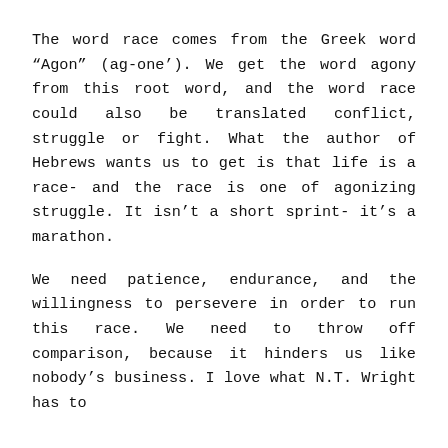The word race comes from the Greek word “Agon” (ag-one’). We get the word agony from this root word, and the word race could also be translated conflict, struggle or fight. What the author of Hebrews wants us to get is that life is a race- and the race is one of agonizing struggle. It isn’t a short sprint- it’s a marathon.
We need patience, endurance, and the willingness to persevere in order to run this race. We need to throw off comparison, because it hinders us like nobody’s business. I love what N.T. Wright has to